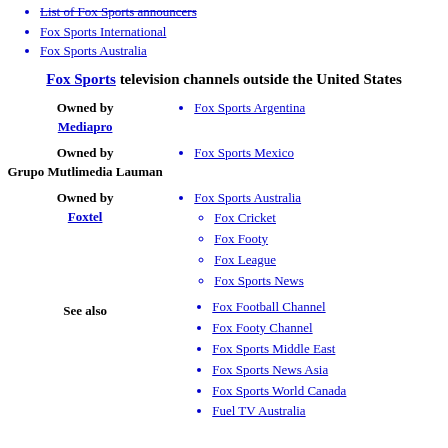List of Fox Sports announcers
Fox Sports International
Fox Sports Australia
Fox Sports television channels outside the United States
Owned by Mediapro
Fox Sports Argentina
Owned by Grupo Mutlimedia Lauman
Fox Sports Mexico
Owned by Foxtel
Fox Sports Australia
Fox Cricket
Fox Footy
Fox League
Fox Sports News
See also
Fox Football Channel
Fox Footy Channel
Fox Sports Middle East
Fox Sports News Asia
Fox Sports World Canada
Fuel TV Australia